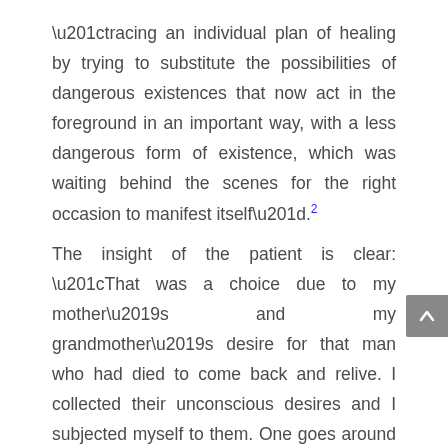“tracing an individual plan of healing by trying to substitute the possibilities of dangerous existences that now act in the foreground in an important way, with a less dangerous form of existence, which was waiting behind the scenes for the right occasion to manifest itself”.2
The insight of the patient is clear: “That was a choice due to my mother’s and my grandmother’s desire for that man who had died to come back and relive. I collected their unconscious desires and I subjected myself to them. One goes around to return to a certain point. That evening I was sure that my boyfriend would have died after leaving the house. An absurd, mad thing. The circle of an already made history would have closed”.